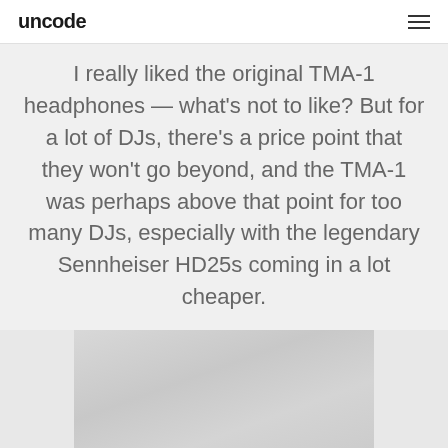uncode
I really liked the original TMA-1 headphones — what's not to like? But for a lot of DJs, there's a price point that they won't go beyond, and the TMA-1 was perhaps above that point for too many DJs, especially with the legendary Sennheiser HD25s coming in a lot cheaper.
[Figure (photo): Partial image of headphones or related product, gray/light toned, cropped at bottom of page]